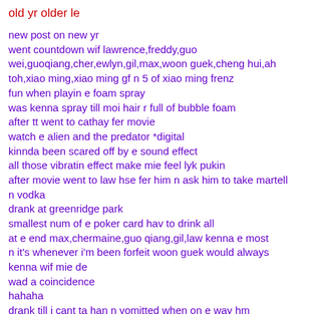old yr older le
new post on new yr
went countdown wif lawrence,freddy,guo wei,guoqiang,cher,ewlyn,gil,max,woon guek,cheng hui,ah toh,xiao ming,xiao ming gf n 5 of xiao ming frenz
fun when playin e foam spray
was kenna spray till moi hair r full of bubble foam
after tt went to cathay fer movie
watch e alien and the predator *digital
kinnda been scared off by e sound effect
all those vibratin effect make mie feel lyk pukin
after movie went to law hse fer him n ask him to take martell n vodka
drank at greenridge park
smallest num of e poker card hav to drink all
at e end max,chermaine,guo qiang,gil,law kenna e most
n it's whenever i'm been forfeit woon guek would always kenna wif mie de
wad a coincidence
hahaha
drank till i cant ta han n vomitted when on e way hm